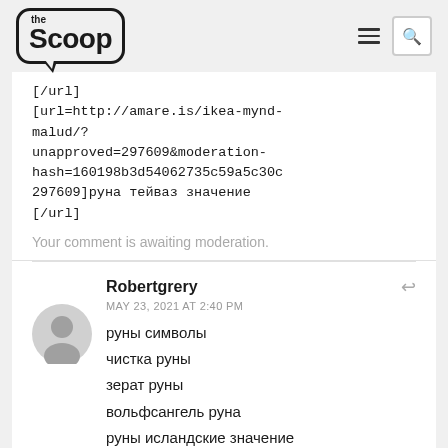the Scoop
[/url]
[url=http://amare.is/ikea-mynd-malud/?unapproved=297609&moderation-hash=160198b3d54062735c59a5c30c297609]руна тейваз значение [/url]
Your comment is awaiting moderation.
Robertgrery
MAY 23, 2021 AT 2:40 PM
руны символы
чистка руны
зерат руны
вольфсангель руна
руны исландские значение